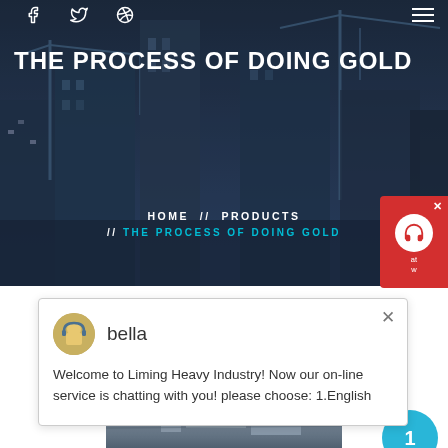[Figure (screenshot): Hero banner with dark blue construction/city background with cranes and buildings, social media icons (facebook, twitter, dribbble) at top, hamburger menu top-right]
THE PROCESS OF DOING GOLD
HOME // PRODUCTS // THE PROCESS OF DOING GOLD
[Figure (screenshot): Red chat support widget on right side with headset icon]
[Figure (screenshot): White chat popup box with avatar of 'bella' and welcome message]
bella
Welcome to Liming Heavy Industry! Now our online service is chatting with you! please choose: 1.English
Latest Projects
[Figure (photo): Industrial machinery/equipment photo at bottom of page, partially visible]